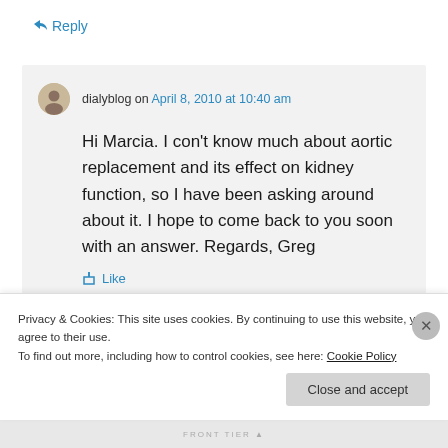↳ Reply
dialyblog on April 8, 2010 at 10:40 am
Hi Marcia. I con't know much about aortic replacement and its effect on kidney function, so I have been asking around about it. I hope to come back to you soon with an answer. Regards, Greg
↑ Like
Privacy & Cookies: This site uses cookies. By continuing to use this website, you agree to their use.
To find out more, including how to control cookies, see here: Cookie Policy
Close and accept